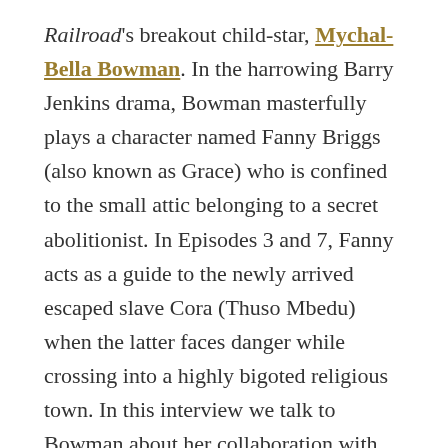Railroad's breakout child-star, Mychal-Bella Bowman. In the harrowing Barry Jenkins drama, Bowman masterfully plays a character named Fanny Briggs (also known as Grace) who is confined to the small attic belonging to a secret abolitionist. In Episodes 3 and 7, Fanny acts as a guide to the newly arrived escaped slave Cora (Thuso Mbedu) when the latter faces danger while crossing into a highly bigoted religious town. In this interview we talk to Bowman about her collaboration with Jenkins, growing up as a child actor, things that she both admires and uses as inspiration to